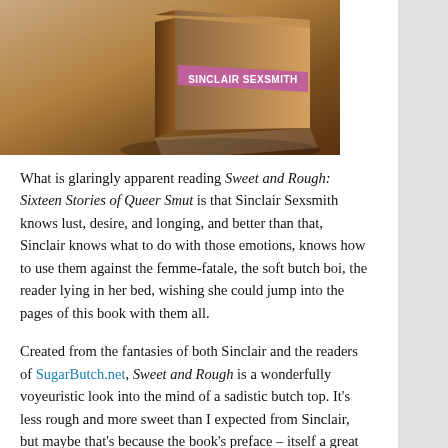[Figure (photo): A 3D rendered book cover image of 'Sweet and Rough: Sixteen Stories of Queer Smut' by Sinclair Sexsmith, showing the book spine and cover with a pink label.]
What is glaringly apparent reading Sweet and Rough: Sixteen Stories of Queer Smut is that Sinclair Sexsmith knows lust, desire, and longing, and better than that, Sinclair knows what to do with those emotions, knows how to use them against the femme-fatale, the soft butch boi, the reader lying in her bed, wishing she could jump into the pages of this book with them all.
Created from the fantasies of both Sinclair and the readers of SugarButch.net, Sweet and Rough is a wonderfully voyeuristic look into the mind of a sadistic butch top. It’s less rough and more sweet than I expected from Sinclair, but maybe that’s because the book’s preface – itself a great essay worth reading about kinky erotic fantasies versus actual sexual relationships – prepared me for something more risqué.
Some of it is ‘problematic,’ and I wouldn’t claim otherwise – but they still have so much value, and can jump-start our erotic engines or show us how much more can be incorporated into our erotic lives.